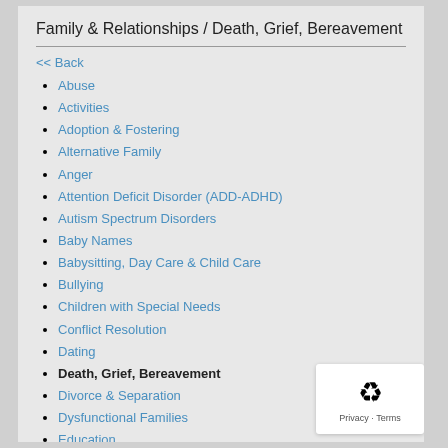Family & Relationships / Death, Grief, Bereavement
<< Back
Abuse
Activities
Adoption & Fostering
Alternative Family
Anger
Attention Deficit Disorder (ADD-ADHD)
Autism Spectrum Disorders
Baby Names
Babysitting, Day Care & Child Care
Bullying
Children with Special Needs
Conflict Resolution
Dating
Death, Grief, Bereavement
Divorce & Separation
Dysfunctional Families
Education